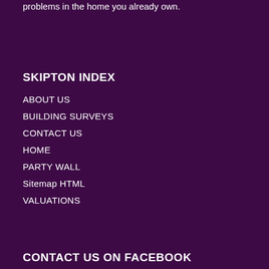problems in the home you already own.
SKIPTON INDEX
ABOUT US
BUILDING SURVEYS
CONTACT US
HOME
PARTY WALL
Sitemap HTML
VALUATIONS
CONTACT US ON FACEBOOK